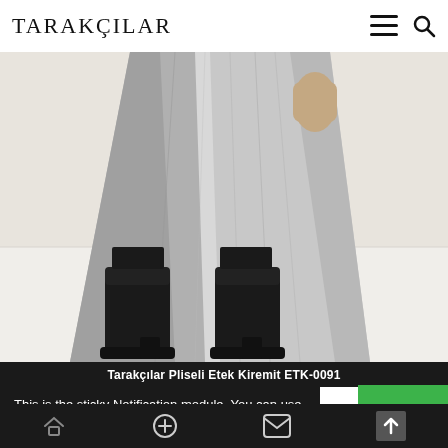TARAKÇILAR
[Figure (photo): Fashion product photo showing lower body of a model wearing a light grey midi pleated skirt and black knee-high boots, on a neutral background.]
Tarakçılar Pliseli Etek Kiremit ETK-0091
This is the sticky Notification module. You can use it for any message such as cookie notices, special promotions, or any other important text.